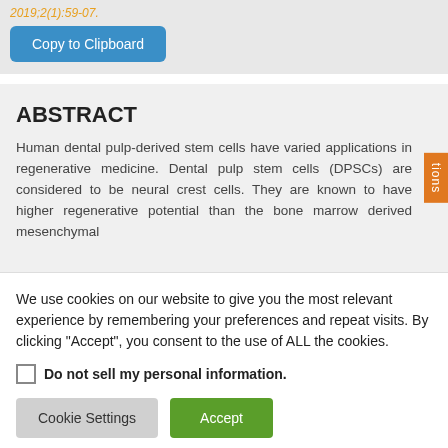2019;2(1):59-07.
Copy to Clipboard
ABSTRACT
Human dental pulp-derived stem cells have varied applications in regenerative medicine. Dental pulp stem cells (DPSCs) are considered to be neural crest cells. They are known to have higher regenerative potential than the bone marrow derived mesenchymal
We use cookies on our website to give you the most relevant experience by remembering your preferences and repeat visits. By clicking “Accept”, you consent to the use of ALL the cookies.
Do not sell my personal information.
Cookie Settings
Accept